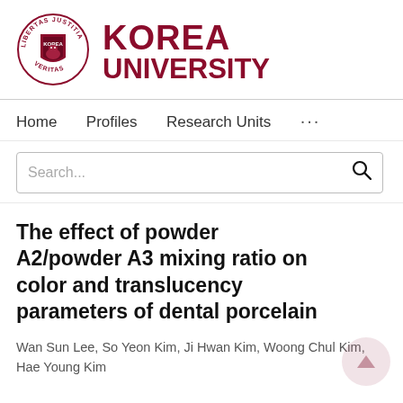[Figure (logo): Korea University logo with circular seal (LIBERTAS JUSTITIA VERITAS) and bold KOREA UNIVERSITY text in dark red]
Home   Profiles   Research Units   ...
Search...
The effect of powder A2/powder A3 mixing ratio on color and translucency parameters of dental porcelain
Wan Sun Lee, So Yeon Kim, Ji Hwan Kim, Woong Chul Kim, Hae Young Kim